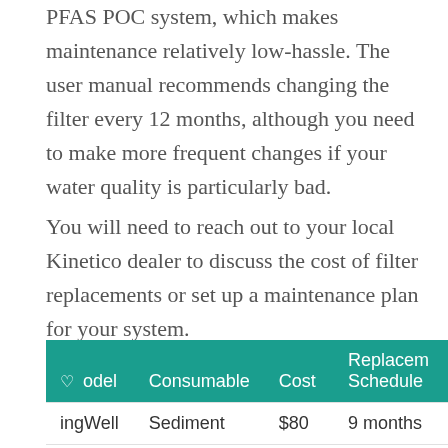PFAS POC system, which makes maintenance relatively low-hassle. The user manual recommends changing the filter every 12 months, although you need to make more frequent changes if your water quality is particularly bad.
You will need to reach out to your local Kinetico dealer to discuss the cost of filter replacements or set up a maintenance plan for your system.
| Model | Consumable | Cost | Replacement Schedule |
| --- | --- | --- | --- |
| SpringWell | Sediment filter | $80 | 9 months |
| CF/For | filter |  |  |